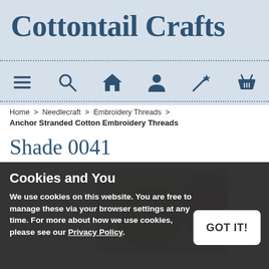Cottontail Crafts
[Figure (screenshot): Navigation icon bar with menu, search, home, account, wand/magic, and basket icons]
Home > Needlecraft > Embroidery Threads >
Anchor Stranded Cotton Embroidery Threads
Shade 0041
[Figure (photo): Product photo of embroidery threads in green and pink colors]
Cookies and You
We use cookies on this website. You are free to manage these via your browser settings at any time. For more about how we use cookies, please see our Privacy Policy.